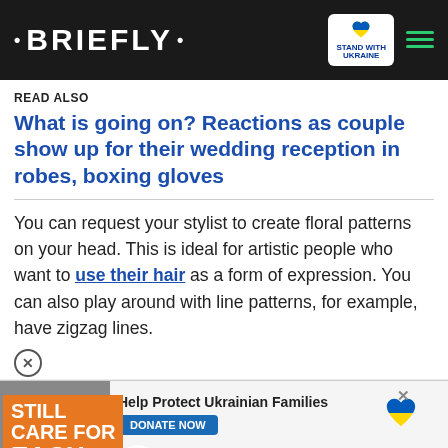• BRIEFLY •
READ ALSO
What is going on? Reactions as couple show up for their wedding reception in robes, boxing gloves
You can request your stylist to create floral patterns on your head. This is ideal for artistic people who want to use their hair as a form of expression. You can also play around with line patterns, for example, have zigzag lines.
[Figure (screenshot): Video advertisement thumbnail showing two people with text overlay 'STILL CARE FOR EACH OTHER' on orange background, with play button, and minimize chevron button in red]
[Figure (photo): Bottom banner advertisement: Help Protect Ukrainian Families - DONATE NOW button with Ukrainian heart logo]